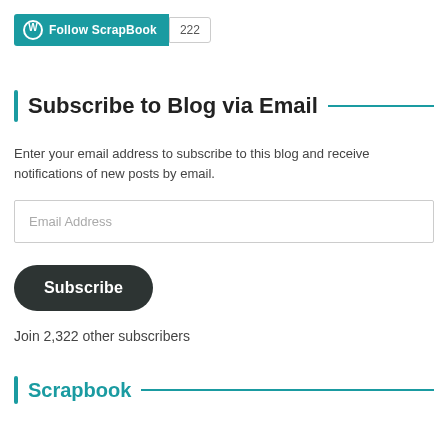[Figure (other): WordPress Follow ScrapBook button with count badge showing 222]
Subscribe to Blog via Email
Enter your email address to subscribe to this blog and receive notifications of new posts by email.
Email Address
Subscribe
Join 2,322 other subscribers
Scrapbook